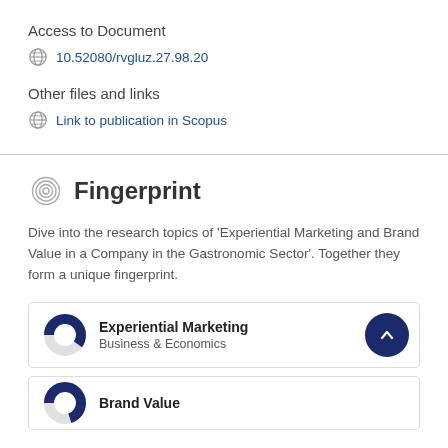Access to Document
10.52080/rvgluz.27.98.20
Other files and links
Link to publication in Scopus
Fingerprint
Dive into the research topics of 'Experiential Marketing and Brand Value in a Company in the Gastronomic Sector'. Together they form a unique fingerprint.
Experiential Marketing
Business & Economics
Brand Value